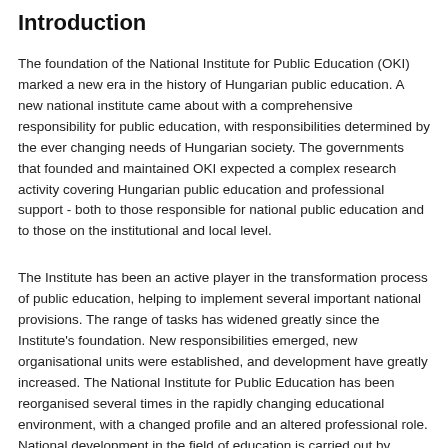Introduction
The foundation of the National Institute for Public Education (OKI) marked a new era in the history of Hungarian public education. A new national institute came about with a comprehensive responsibility for public education, with responsibilities determined by the ever changing needs of Hungarian society. The governments that founded and maintained OKI expected a complex research activity covering Hungarian public education and professional support - both to those responsible for national public education and to those on the institutional and local level.
The Institute has been an active player in the transformation process of public education, helping to implement several important national provisions. The range of tasks has widened greatly since the Institute's foundation. New responsibilities emerged, new organisational units were established, and research and development have greatly increased. The National Institute for Public Education has been reorganised several times in the rapidly changing educational environment, with a changed profile and an altered professional role. National development in the field of education is carried out by independent institutes - one of them being the National Institute for Public Education.
In accordance with the mid-range research and development programme, the Institute is engaged in research and development activities that aim to improve the quality and effectiveness of public education, foster equality of opportunity, and to contribute to the preparation of educational policy decisions at national level.